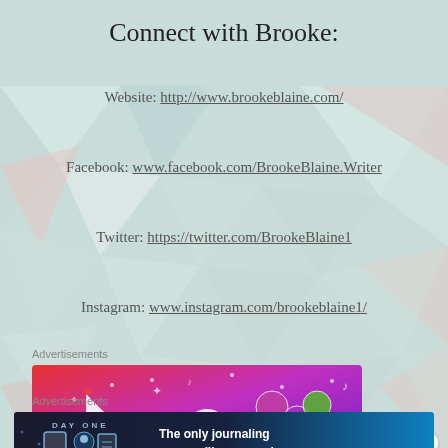Connect with Brooke:
Website: http://www.brookeblaine.com/
Facebook: www.facebook.com/BrookeBlaine.Writer
Twitter: https://twitter.com/BrookeBlaine1
Instagram: www.instagram.com/brookeblaine1/
Advertisements
[Figure (illustration): Fandom advertisement banner with colorful gradient background (red to purple), doodle art including a sailboat, skull, orbs, and the word FANDOM in large white letters]
Advertisements
[Figure (illustration): Day One journaling app advertisement banner with dark blue background, app icons, and text: The only journaling app you'll ever need.]